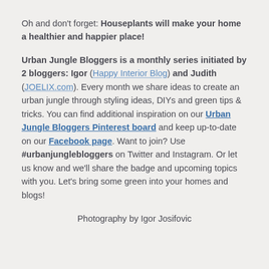Oh and don't forget: Houseplants will make your home a healthier and happier place!
Urban Jungle Bloggers is a monthly series initiated by 2 bloggers: Igor (Happy Interior Blog) and Judith (JOELIX.com). Every month we share ideas to create an urban jungle through styling ideas, DIYs and green tips & tricks. You can find additional inspiration on our Urban Jungle Bloggers Pinterest board and keep up-to-date on our Facebook page. Want to join? Use #urbanjunglebloggers on Twitter and Instagram. Or let us know and we'll share the badge and upcoming topics with you. Let's bring some green into your homes and blogs!
Photography by Igor Josifovic